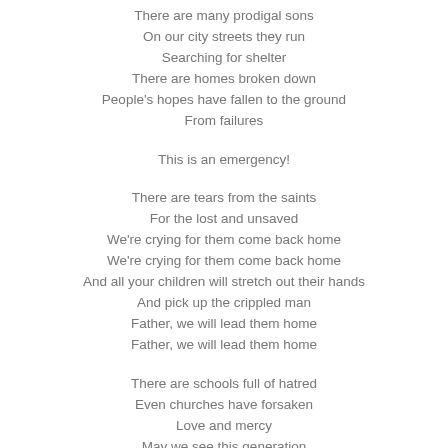There are many prodigal sons
On our city streets they run
Searching for shelter
There are homes broken down
People's hopes have fallen to the ground
From failures

This is an emergency!

There are tears from the saints
For the lost and unsaved
We're crying for them come back home
We're crying for them come back home
And all your children will stretch out their hands
And pick up the crippled man
Father, we will lead them home
Father, we will lead them home

There are schools full of hatred
Even churches have forsaken
Love and mercy
May we see this generation